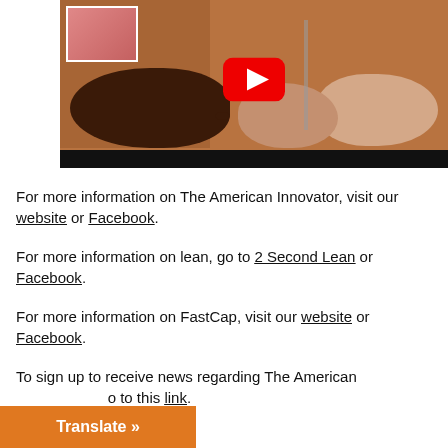[Figure (screenshot): YouTube video thumbnail showing pigs in a dirt pen, with red YouTube play button overlay and a small inset thumbnail in the top left corner. A dark bar appears at the bottom of the video.]
For more information on The American Innovator, visit our website or Facebook.
For more information on lean, go to 2 Second Lean or Facebook.
For more information on FastCap, visit our website or Facebook.
To sign up to receive news regarding The American [Innovator,] go to this link.
Translate »